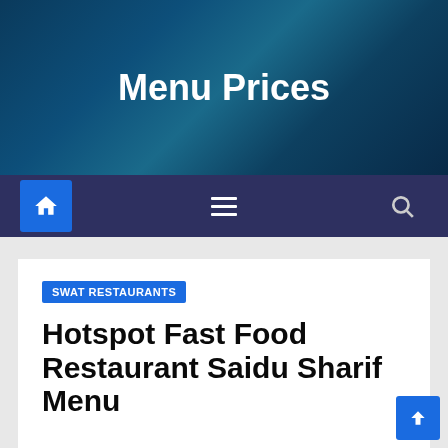Menu Prices
[Figure (screenshot): Navigation bar with home icon, hamburger menu, and search icon on dark blue background]
SWAT RESTAURANTS
Hotspot Fast Food Restaurant Saidu Sharif Menu